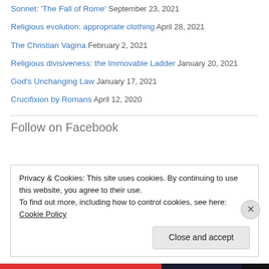Sonnet: 'The Fall of Rome' September 23, 2021
Religious evolution: appropriate clothing April 28, 2021
The Christian Vagina February 2, 2021
Religious divisiveness: the Immovable Ladder January 20, 2021
God's Unchanging Law January 17, 2021
Crucifixion by Romans April 12, 2020
Follow on Facebook
Privacy & Cookies: This site uses cookies. By continuing to use this website, you agree to their use. To find out more, including how to control cookies, see here: Cookie Policy
Close and accept